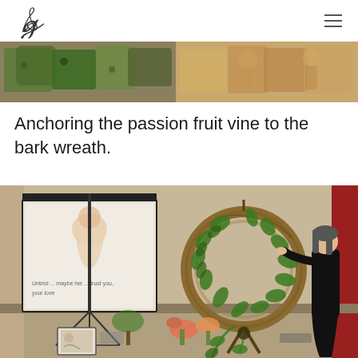[Logo] [Navigation menu icon]
[Figure (photo): Top strip photo showing green leaves and produce arranged in baskets or displays, colorful market-style arrangement]
Anchoring the passion fruit vine to the bark wreath.
[Figure (photo): A woman in a black dress anchoring a passion fruit vine to a large circular bark wreath on a stand, with a projection screen showing a baby image and text on the left side of the room]